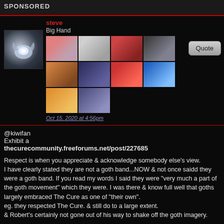SPONSORED
[Figure (photo): Forum post with avatar (glowing orb/bat-like icon) and a grid of album cover thumbnails]
steve
Big Hand
Oct 15, 2020 at 4:56pm
@kiwifan
Exhibit a
thecurecommunity.freeforums.net/post/227685
Respect is when you appreciate & acknowledge somebody else's view. I have clearly stated they are not a goth band...NOW & not once saidd they were a goth band. If you read my words I said they were "very much a part of the goth movement" which they were. I was there & know full well that goths largely embraced The Cure as one of "their own".
eg. they respected The Cure. & still do to a large extent.
& Robert's certainly not gone out of his way to shake off the goth imagery.